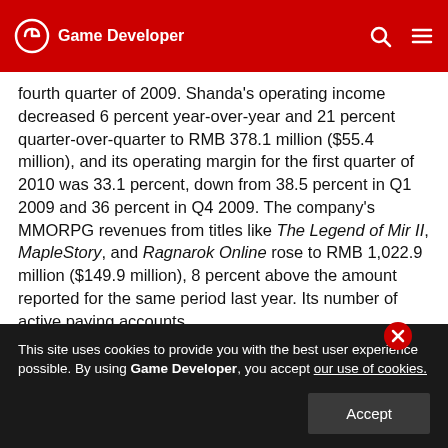Game Developer
fourth quarter of 2009. Shanda's operating income decreased 6 percent year-over-year and 21 percent quarter-over-quarter to RMB 378.1 million ($55.4 million), and its operating margin for the first quarter of 2010 was 33.1 percent, down from 38.5 percent in Q1 2009 and 36 percent in Q4 2009. The company's MMORPG revenues from titles like The Legend of Mir II, MapleStory, and Ragnarok Online rose to RMB 1,022.9 million ($149.9 million), 8 percent above the amount reported for the same period last year. Its number of active paying accounts
This site uses cookies to provide you with the best user experience possible. By using Game Developer, you accept our use of cookies.